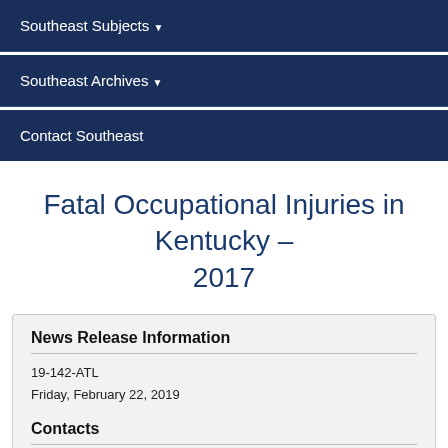Southeast Subjects
Southeast Archives
Contact Southeast
Fatal Occupational Injuries in Kentucky – 2017
News Release Information
19-142-ATL
Friday, February 22, 2019
Contacts
Technical information:
(404) 893-4222
BLSInfoAtlanta@bls.gov